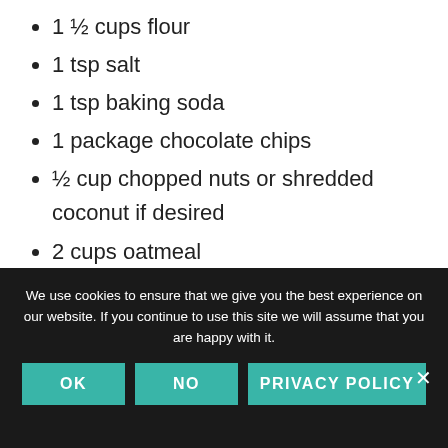1 ½ cups flour
1 tsp salt
1 tsp baking soda
1 package chocolate chips
½ cup chopped nuts or shredded coconut if desired
2 cups oatmeal
Instructions
Cream shortening/butter.
We use cookies to ensure that we give you the best experience on our website. If you continue to use this site we will assume that you are happy with it.